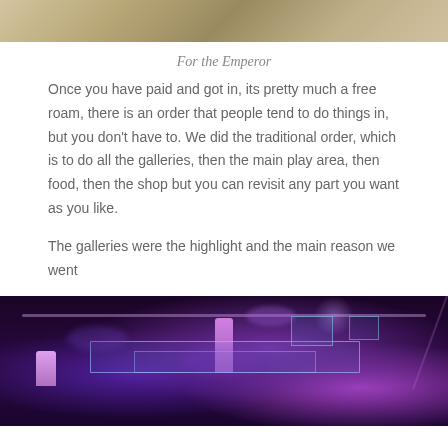[Figure (photo): Top partial photo showing what appears to be a decorated surface or floor with warm tones]
For the Emperor
Once you have paid and got in, its pretty much a free roam, there is an order that people tend to do things in, but you don't have to. We did the traditional order, which is to do all the galleries, then the main play area, then food, then the shop but you can revisit any part you want as you like.
The galleries were the highlight and the main reason we went
[Figure (photo): Photo of a dark gallery or exhibition space with purple/violet lighting, showing a stage-like area with a figure, glass display cases, and screens in the background]